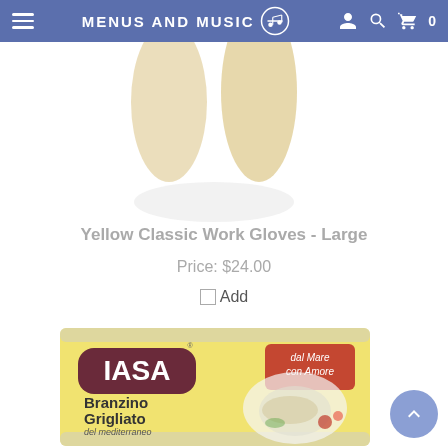MENUS AND MUSIC
[Figure (photo): Yellow classic work gloves on white background, top-down view, only the fingers visible at bottom of frame]
Yellow Classic Work Gloves - Large
Price: $24.00
Add
[Figure (photo): IASA brand Branzino Grigliato del mediterraneo in olio di oliva product box, yellow packaging with red dal Mare con Amore badge]